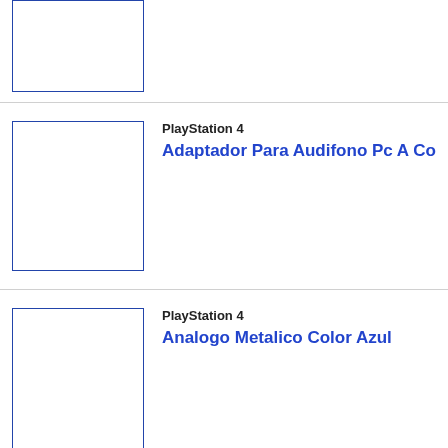[Figure (other): Product image placeholder box (top, partially visible)]
[Figure (other): Product image placeholder box for Adaptador Para Audifono Pc A Co]
PlayStation 4
Adaptador Para Audifono Pc A Co
[Figure (other): Product image placeholder box for Analogo Metalico Color Azul]
PlayStation 4
Analogo Metalico Color Azul